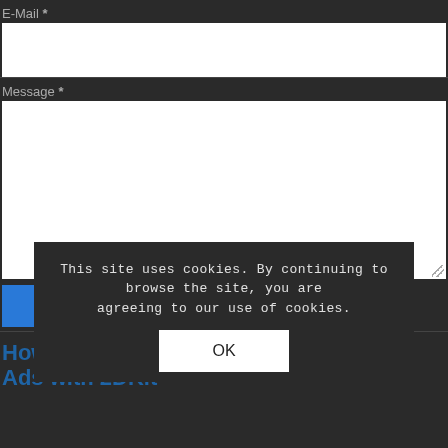E-Mail *
[Figure (screenshot): White email input field]
Message *
[Figure (screenshot): White textarea message input field with resize handle]
Send It
This site uses cookies. By continuing to browse the site, you are agreeing to our use of cookies.
OK
How to Add Interstitial and Video Ads with 2DKit